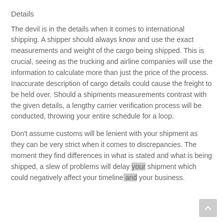Details
The devil is in the details when it comes to international shipping. A shipper should always know and use the exact measurements and weight of the cargo being shipped. This is crucial, seeing as the trucking and airline companies will use the information to calculate more than just the price of the process. Inaccurate description of cargo details could cause the freight to be held over. Should a shipments measurements contrast with the given details, a lengthy carrier verification process will be conducted, throwing your entire schedule for a loop.
Don't assume customs will be lenient with your shipment as they can be very strict when it comes to discrepancies. The moment they find differences in what is stated and what is being shipped, a slew of problems will delay your shipment which could negatively affect your timeline and your business.